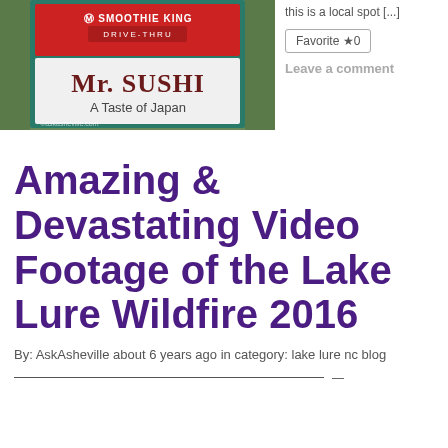[Figure (photo): Outdoor sign showing Smoothie King Drive-Thru on top and Mr. Sushi A Taste of Japan below, with trees in background]
this is a local spot [...]
Favorite ☆ 0
Leave a comment
Amazing & Devastating Video Footage of the Lake Lure Wildfire 2016
By: AskAsheville about 6 years ago in category: lake lure nc blog